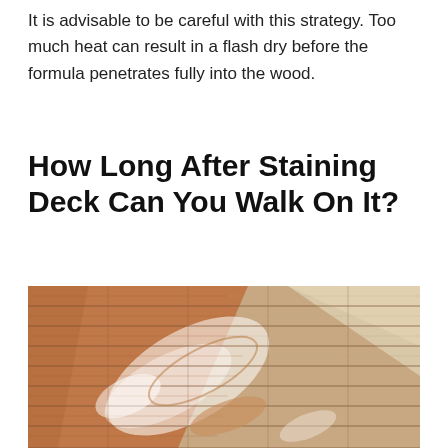It is advisable to be careful with this strategy. Too much heat can result in a flash dry before the formula penetrates fully into the wood.
How Long After Staining Deck Can You Walk On It?
[Figure (photo): Close-up photo of wooden deck boards being stained, showing a brush/roller applying reddish-brown stain across the wood planks with white foam or stain residue visible.]